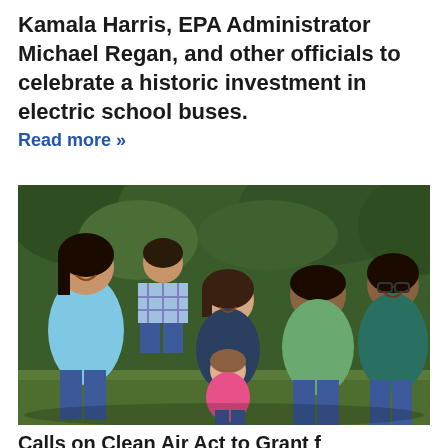Kamala Harris, EPA Administrator Michael Regan, and other officials to celebrate a historic investment in electric school buses.
Read more »
[Figure (photo): A group photo of families outdoors — two women and a teenage girl with three young children (a toddler boy, a baby girl, and a boy around age 10) posing together in front of green foliage.]
Calls on Clean Air Act to Grant f